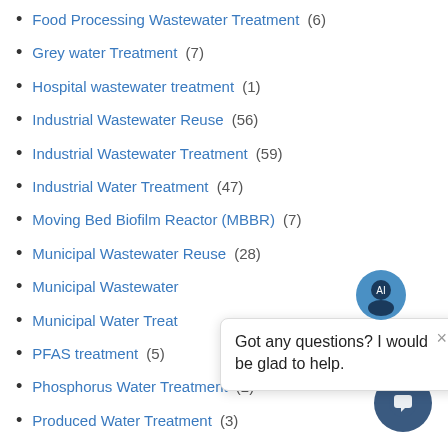Food Processing Wastewater Treatment (6)
Grey water Treatment (7)
Hospital wastewater treatment (1)
Industrial Wastewater Reuse (56)
Industrial Wastewater Treatment (59)
Industrial Water Treatment (47)
Moving Bed Biofilm Reactor (MBBR) (7)
Municipal Wastewater Reuse (28)
Municipal Wastewater [partially obscured]
Municipal Water Treat[partially obscured]
PFAS treatment (5)
Phosphorus Water Treatment (2)
Produced Water Treatment (3)
refinery wastewater (2)
[Figure (screenshot): Chat bot popup with message: Got any questions? I would like to help.]